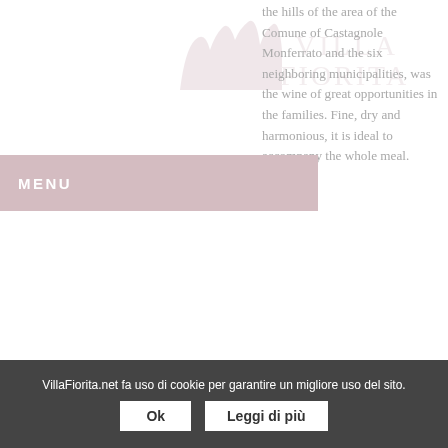[Figure (logo): Villa Fiorita watermark logo with stylized graphic and text, displayed lightly in top-left area]
the hills of the area of the Comune of Castagnole Monferrato and the six neighboring municipalities, was the wine of great opportunities in the families. Fine, dry and harmonious, it is ideal to accompany the whole meal.
MENU
Food and wine, the flavors of Asti
To accompany the wines of the Asti area, we find the dishes of the Piedmont tradition, such as the "bagna cauda", ideal with square peppers of Motta di Costigliole, the
VillaFiorita.net fa uso di cookie per garantire un migliore uso del sito.